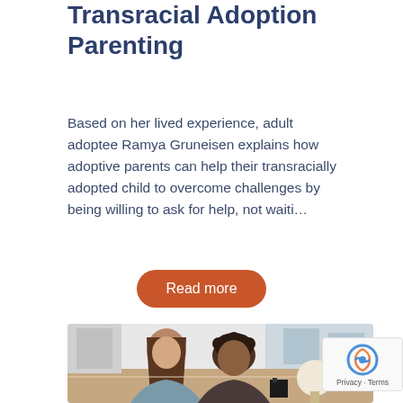Transracial Adoption Parenting
Based on her lived experience, adult adoptee Ramya Gruneisen explains how adoptive parents can help their transracially adopted child to overcome challenges by being willing to ask for help, not waiti…
Read more
[Figure (photo): Two people leaning over a table in a modern kitchen setting, one with long hair and one with curly dark hair, appearing to look at something together.]